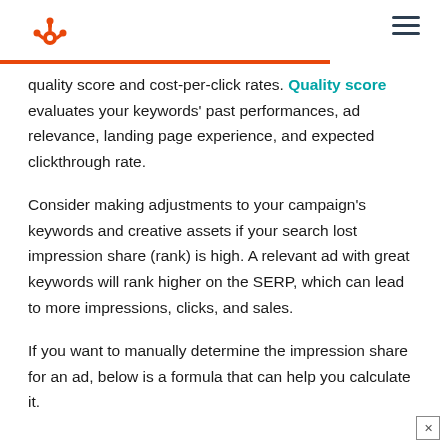HubSpot logo and navigation
quality score and cost-per-click rates. Quality score evaluates your keywords' past performances, ad relevance, landing page experience, and expected clickthrough rate.
Consider making adjustments to your campaign's keywords and creative assets if your search lost impression share (rank) is high. A relevant ad with great keywords will rank higher on the SERP, which can lead to more impressions, clicks, and sales.
If you want to manually determine the impression share for an ad, below is a formula that can help you calculate it.